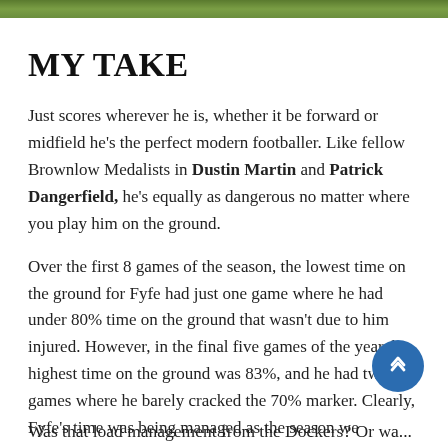[Figure (photo): Green grass/field banner image at the top of the page]
MY TAKE
Just scores wherever he is, whether it be forward or midfield he's the perfect modern footballer. Like fellow Brownlow Medalists in Dustin Martin and Patrick Dangerfield, he's equally as dangerous no matter where you play him on the ground.
Over the first 8 games of the season, the lowest time on the ground for Fyfe had just one game where he had under 80% time on the ground that wasn't due to him injured. However, in the final five games of the year, his highest time on the ground was 83%, and he had two games where he barely cracked the 70% marker. Clearly, Fyfe's time was being managed as the season we…
Was that load management from the Dockers? Or wa…